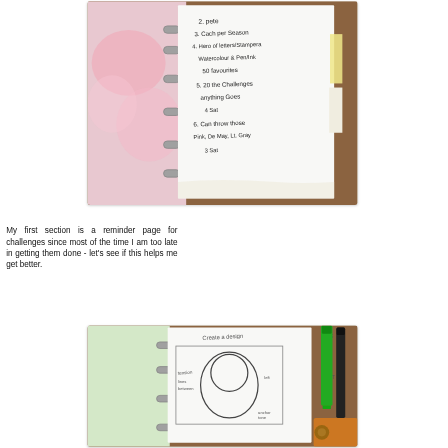[Figure (photo): A photo of an open ring-bound planner/notebook with handwritten text listing challenges. The planner has a pink decorative page visible and sits on a brown leather surface. Handwritten list includes numbered items about challenges.]
My first section is a reminder page for challenges since most of the time I am too late in getting them done - let's see if this helps me get better.
[Figure (photo): A photo of an open ring-bound planner/notebook showing a sketched design page with a large number 6 or figure-8 shape drawn in pencil. The title reads 'Create a design' or similar. Green and black markers/pens visible on the right side.]